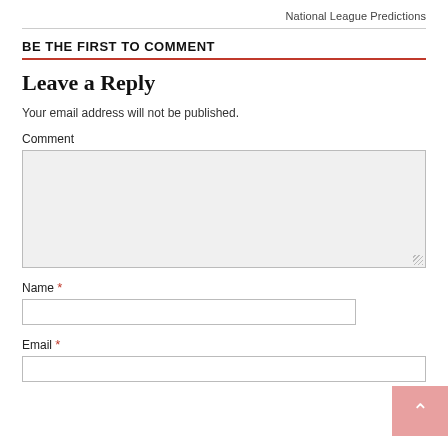National League Predictions
BE THE FIRST TO COMMENT
Leave a Reply
Your email address will not be published.
Comment
Name *
Email *